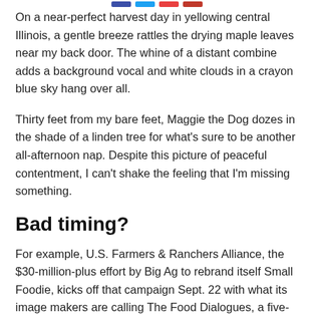[social share buttons]
On a near-perfect harvest day in yellowing central Illinois, a gentle breeze rattles the drying maple leaves near my back door. The whine of a distant combine adds a background vocal and white clouds in a crayon blue sky hang over all.
Thirty feet from my bare feet, Maggie the Dog dozes in the shade of a linden tree for what's sure to be another all-afternoon nap. Despite this picture of peaceful contentment, I can't shake the feeling that I'm missing something.
Bad timing?
For example, U.S. Farmers & Ranchers Alliance, the $30-million-plus effort by Big Ag to rebrand itself Small Foodie, kicks off that campaign Sept. 22 with what its image makers are calling The Food Dialogues, a five-and-a-half-hour long “interactive event taking place ... across the U.S. and online."